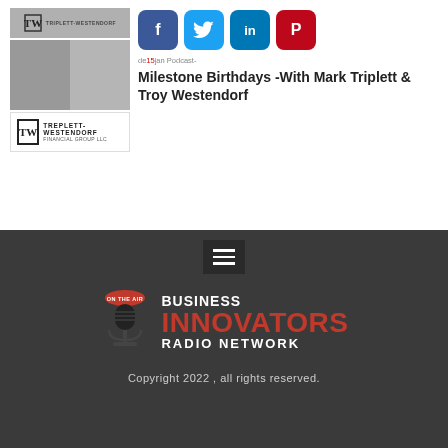[Figure (screenshot): Social sharing buttons: Facebook (blue), Twitter (light blue), LinkedIn (blue), Pinterest (red)]
[Figure (photo): Card thumbnail with Triplett-Westendorf logo and two men in suits]
Milestone Birthdays -With Mark Triplett & Troy Westendorf
[Figure (logo): Business Innovators Radio Network logo with microphone graphic]
Copyright 2022 , all rights reserved.